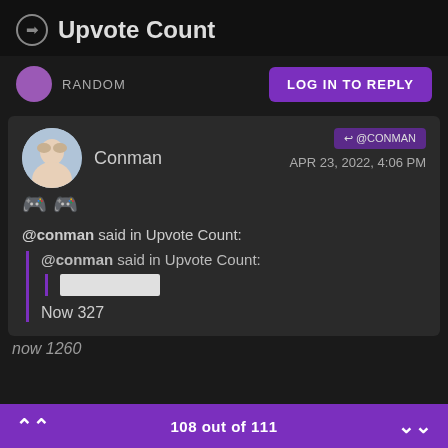Upvote Count
RANDOM
LOG IN TO REPLY
Conman
@CONMAN
APR 23, 2022, 4:06 PM
@conman said in Upvote Count:
@conman said in Upvote Count:
Now 327
now 1260
108 out of 111